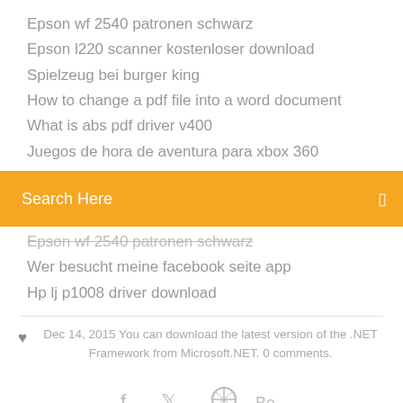Epson wf 2540 patronen schwarz
Epson l220 scanner kostenloser download
Spielzeug bei burger king
How to change a pdf file into a word document
What is abs pdf driver v400
Juegos de hora de aventura para xbox 360
Search Here
Epson wf 2540 patronen schwarz
Wer besucht meine facebook seite app
Hp lj p1008 driver download
Dec 14, 2015 You can download the latest version of the .NET Framework from Microsoft.NET. 0 comments.
[Figure (other): Social media icons: Facebook, Twitter, a circular icon, Behance]